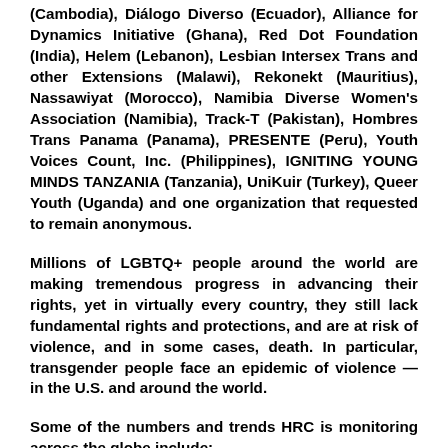(Cambodia), Diálogo Diverso (Ecuador), Alliance for Dynamics Initiative (Ghana), Red Dot Foundation (India), Helem (Lebanon), Lesbian Intersex Trans and other Extensions (Malawi), Rekonekt (Mauritius), Nassawiyat (Morocco), Namibia Diverse Women's Association (Namibia), Track-T (Pakistan), Hombres Trans Panama (Panama), PRESENTE (Peru), Youth Voices Count, Inc. (Philippines), IGNITING YOUNG MINDS TANZANIA (Tanzania), UniKuir (Turkey), Queer Youth (Uganda) and one organization that requested to remain anonymous.
Millions of LGBTQ+ people around the world are making tremendous progress in advancing their rights, yet in virtually every country, they still lack fundamental rights and protections, and are at risk of violence, and in some cases, death. In particular, transgender people face an epidemic of violence — in the U.S. and around the world.
Some of the numbers and trends HRC is monitoring across the globe include:
Marriage equality is now legal in 31 countries;
68 countries currently criminalize same-sex